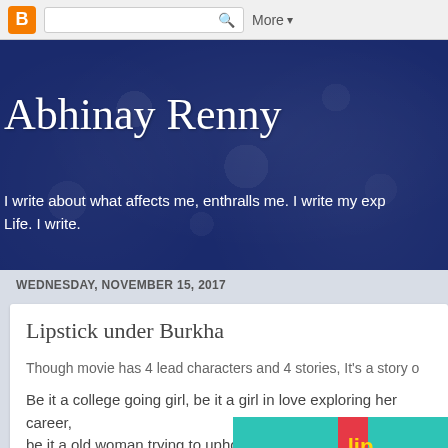[Figure (screenshot): Blogger top navigation bar with orange Blogger icon, search box with magnifying glass icon, and 'More' dropdown button]
Abhinay Renny
I write about what affects me, enthralls me. I write my exp Life. I write.
WEDNESDAY, NOVEMBER 15, 2017
Lipstick under Burkha
Though movie has 4 lead characters and 4 stories, It's a story o
Be it a college going girl, be it a girl in love exploring her career, be it a old woman trying to uphold her respect.
[Figure (photo): Partial view of Lipstick Under Burkha movie poster with teal/blue background and yellow text]